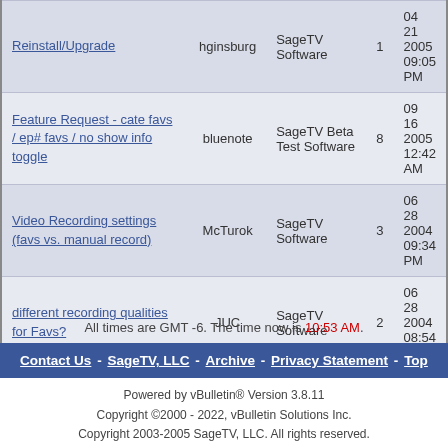| Topic | Author | Forum | Replies | Last Post |
| --- | --- | --- | --- | --- |
| Reinstall/Upgrade | hginsburg | SageTV Software | 1 | 04 21 2005 09:05 PM |
| Feature Request - cate favs / ep# favs / no show info toggle | bluenote | SageTV Beta Test Software | 8 | 09 16 2005 12:42 AM |
| Video Recording settings (favs vs. manual record) | McTurok | SageTV Software | 3 | 06 28 2004 09:34 PM |
| different recording qualities for Favs? | JUC | SageTV Software | 2 | 06 28 2004 08:54 AM |
All times are GMT -6. The time now is 10:53 AM.
Contact Us - SageTV, LLC - Archive - Privacy Statement - Top
Powered by vBulletin® Version 3.8.11
Copyright ©2000 - 2022, vBulletin Solutions Inc.
Copyright 2003-2005 SageTV, LLC. All rights reserved.